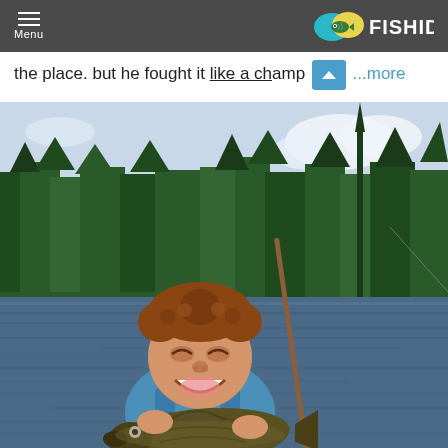Menu | FISHIDY
the place. but he fought it like a champ ...more
[Figure (photo): A young curly-haired boy smiling and holding a large fish (appears to be a bass) while in a canoe on a lake. Trees and cloudy sky visible in background.]